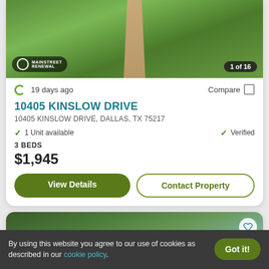[Figure (photo): Exterior photo of property at 10405 Kinslow Drive showing a grass lawn with a stone walkway path. Mainstreet Renewal logo badge in bottom left, '1 of 16' counter badge in bottom right.]
19 days ago
Compare
10405 KINSLOW DRIVE
10405 KINSLOW DRIVE, DALLAS, TX 75217
1 Unit available
Verified
3 BEDS
$1,945
View Details
Contact Property
[Figure (photo): Partial view of a second property listing card showing trees and blue sky. Heart/favorite icon button in top right corner.]
By using this website you agree to our use of cookies as described in our cookie policy.
Got it!